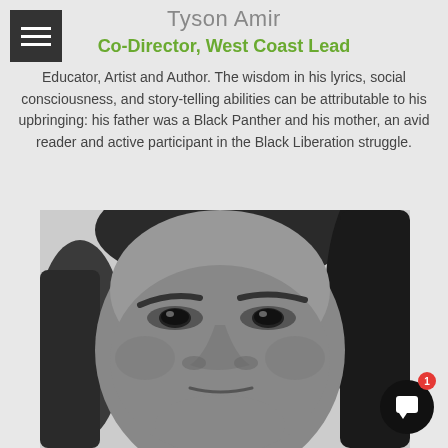Tyson Amir
Co-Director, West Coast Lead
Educator, Artist and Author. The wisdom in his lyrics, social consciousness, and story-telling abilities can be attributable to his upbringing: his father was a Black Panther and his mother, an avid reader and active participant in the Black Liberation struggle.
[Figure (photo): Black and white close-up portrait photo of a person with dreadlocks, looking directly at the camera with a slight expression.]